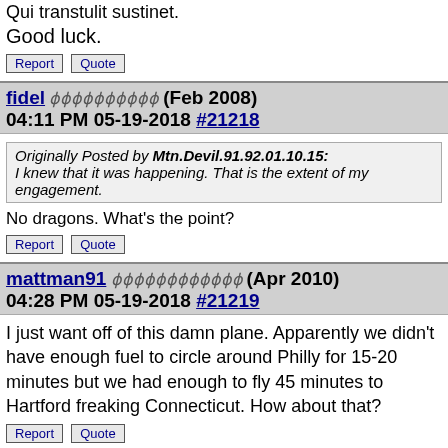Qui transtulit sustinet.
Good luck.
Report  Quote
fidel ϕϕϕϕϕϕϕϕϕϕ (Feb 2008) 04:11 PM 05-19-2018 #21218
Originally Posted by Mtn.Devil.91.92.01.10.15: I knew that it was happening. That is the extent of my engagement.
No dragons. What's the point?
Report  Quote
mattman91 ϕϕϕϕϕϕϕϕϕϕϕϕ (Apr 2010) 04:28 PM 05-19-2018 #21219
I just want off of this damn plane. Apparently we didn't have enough fuel to circle around Philly for 15-20 minutes but we had enough to fly 45 minutes to Hartford freaking Connecticut. How about that?